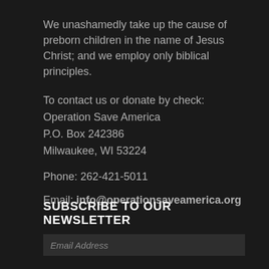We unashamedly take up the cause of preborn children in the name of Jesus Christ; and we employ only biblical principles.
To contact us or donate by check:
Operation Save America
P.O. Box 242386
Milwaukee, WI 53224
Phone: 262-421-5011
Email: info@operationsaveamerica.org
SUBSCRIBE TO OUR NEWSLETTER
Email Address